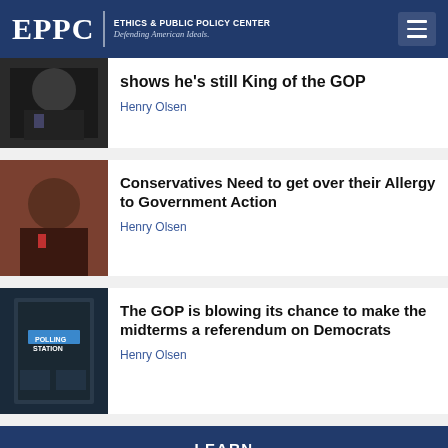EPPC | ETHICS & PUBLIC POLICY CENTER — Defending American Ideals.
shows he's still King of the GOP
Henry Olsen
Conservatives Need to get over their Allergy to Government Action
Henry Olsen
The GOP is blowing its chance to make the midterms a referendum on Democrats
Henry Olsen
LEARN
Publications